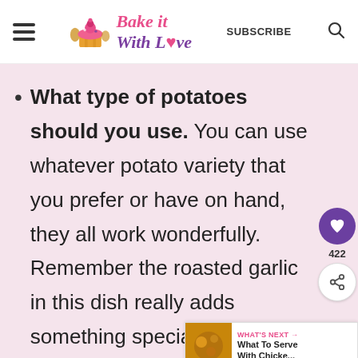Bake it With Love — SUBSCRIBE
What type of potatoes should you use. You can use whatever potato variety that you prefer or have on hand, they all work wonderfully. Remember the roasted garlic in this dish really adds something specia…